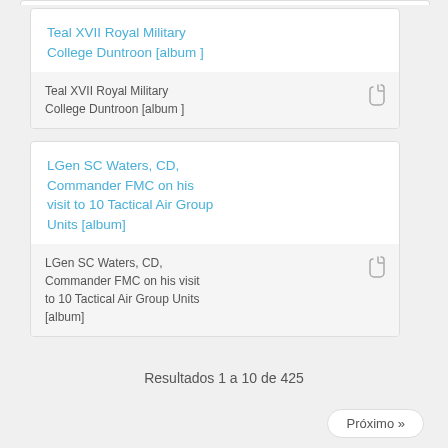Teal XVII Royal Military College Duntroon [album ]
Teal XVII Royal Military College Duntroon [album ]
LGen SC Waters, CD, Commander FMC on his visit to 10 Tactical Air Group Units [album]
LGen SC Waters, CD, Commander FMC on his visit to 10 Tactical Air Group Units [album]
Resultados 1 a 10 de 425
Próximo »